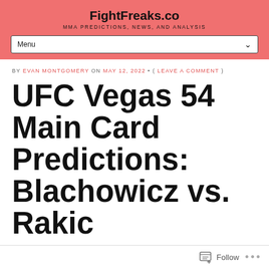FightFreaks.co
MMA PREDICTIONS, NEWS, AND ANALYSIS
BY EVAN MONTGOMERY ON MAY 12, 2022 • ( LEAVE A COMMENT )
UFC Vegas 54 Main Card Predictions: Blachowicz vs. Rakic